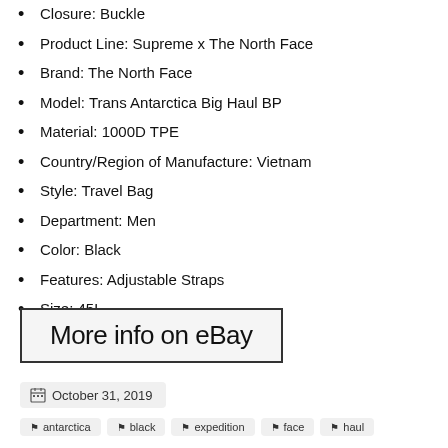Closure: Buckle
Product Line: Supreme x The North Face
Brand: The North Face
Model: Trans Antarctica Big Haul BP
Material: 1000D TPE
Country/Region of Manufacture: Vietnam
Style: Travel Bag
Department: Men
Color: Black
Features: Adjustable Straps
Size: 45L
More info on eBay
October 31, 2019
antarctica  black  expedition  face  haul